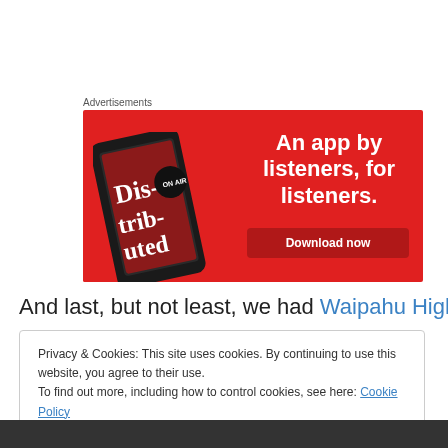Advertisements
[Figure (illustration): Red advertisement banner for a podcast app. Shows a smartphone displaying 'Dis-trib-uted' podcast text on the left. Right side has white bold text: 'An app by listeners, for listeners.' with a dark red 'Download now' button.]
And last, but not least, we had Waipahu High.
Privacy & Cookies: This site uses cookies. By continuing to use this website, you agree to their use.
To find out more, including how to control cookies, see here: Cookie Policy
Close and accept